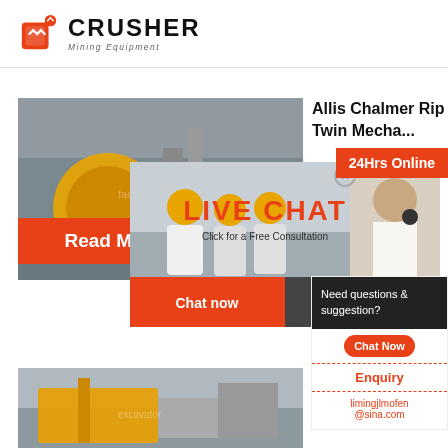CRUSHER Mining Equipment
[Figure (photo): Industrial factory interior with yellow cylindrical machinery]
Allis Chalmer Rip Flo Twin Mecha...
[Figure (screenshot): Live Chat popup overlay with workers photo and customer service agent, Chat now and Chat later buttons]
Read More
24Hrs Online
[Figure (photo): Excavator and mining equipment at a job site]
Allis Ch... Riplflo Screen...
Need questions & suggestion?
Chat Now
Enquiry
limingjlmofen@sina.com